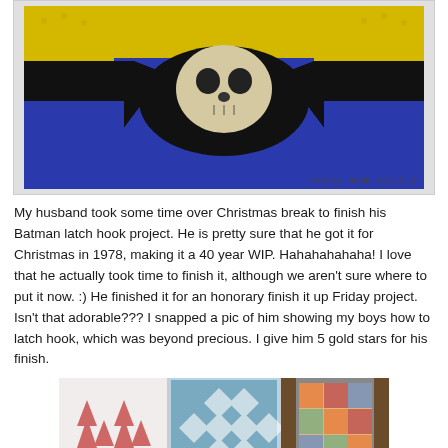[Figure (photo): A latch hook rug depicting a Batman logo/skull design in blue, yellow, black, and cream/beige yarn on a white background, with the watermark 'crazy mom quilts' in the lower right corner.]
My husband took some time over Christmas break to finish his Batman latch hook project. He is pretty sure that he got it for Christmas in 1978, making it a 40 year WIP. Hahahahahaha! I love that he actually took time to finish it, although we aren't sure where to put it now. :) He finished it for an honorary finish it up Friday project. Isn't that adorable??? I snapped a pic of him showing my boys how to latch hook, which was beyond precious. I give him 5 gold stars for his finish.
[Figure (photo): A composite image showing three quilts displayed or photographed: a red-patterned quilt on the left, a blue and white geometric quilt in the center, and an orange/multi-color quilt on the right.]